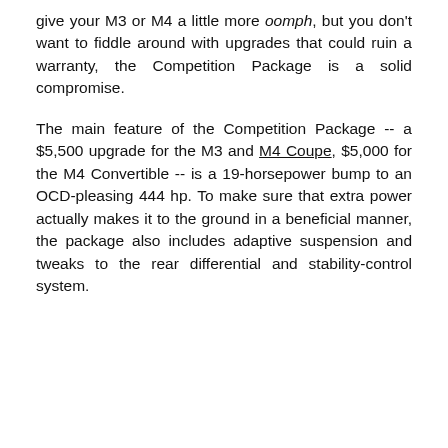give your M3 or M4 a little more oomph, but you don't want to fiddle around with upgrades that could ruin a warranty, the Competition Package is a solid compromise.
The main feature of the Competition Package -- a $5,500 upgrade for the M3 and M4 Coupe, $5,000 for the M4 Convertible -- is a 19-horsepower bump to an OCD-pleasing 444 hp. To make sure that extra power actually makes it to the ground in a beneficial manner, the package also includes adaptive suspension and tweaks to the rear differential and stability-control system.